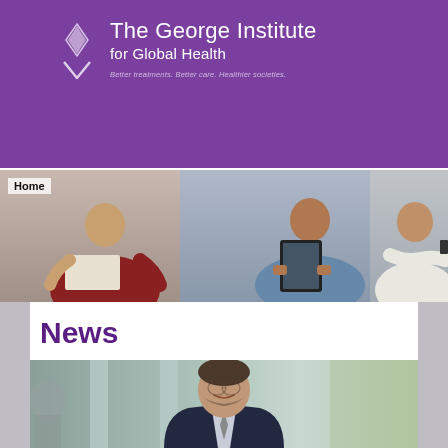[Figure (logo): The George Institute for Global Health logo with white diamond/leaf icon and white text on purple background. Tagline: Better treatments. Better care. Healthier societies.]
[Figure (screenshot): Website navigation bar with purple background containing: shield icon, DONATE button with heart icon, search icon, globe icon with dropdown chevron, and hamburger menu icon.]
[Figure (photo): Hero banner strip showing three people: person in red shirt holding newspaper, person in denim jacket holding tablet, person in white shirt with arms crossed holding phone.]
Home
News
[Figure (photo): Smiling man with beard wearing a dark suit jacket, photographed outdoors in front of a blurred building background.]